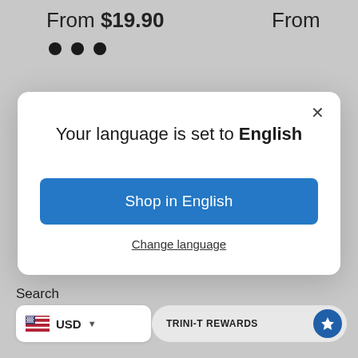From $19.90
From
[Figure (screenshot): Three pagination dots (filled circles)]
[Figure (screenshot): Language selection modal dialog with title 'Your language is set to English', a blue 'Shop in English' button, and a 'Change language' text link with a close X button]
Search
FAQ
[Figure (screenshot): US flag icon with USD currency selector dropdown]
[Figure (screenshot): TRINI-T REWARDS button with blue circle icon]